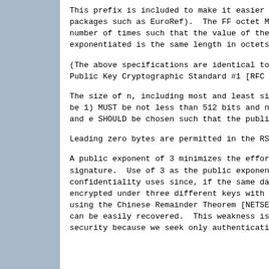This prefix is included to make it easier to use packages such as EuroRef).  The FF octet MUST number of times such that the value of the qua exponentiated is the same length in octets as
(The above specifications are identical to the Public Key Cryptographic Standard #1 [RFC 2437
The size of n, including most and least signi be 1) MUST be not less than 512 bits and not m and e SHOULD be chosen such that the public ex
Leading zero bytes are permitted in the RSA/MD
A public exponent of 3 minimizes the effort ne signature.  Use of 3 as the public exponent is confidentiality uses since, if the same data e encrypted under three different keys with an e using the Chinese Remainder Theorem [NETSEC], can be easily recovered.  This weakness is not security because we seek only authentication,